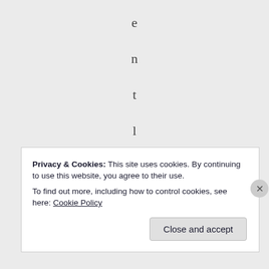e n t l y f a i l s t
Privacy & Cookies: This site uses cookies. By continuing to use this website, you agree to their use.
To find out more, including how to control cookies, see here: Cookie Policy
Close and accept